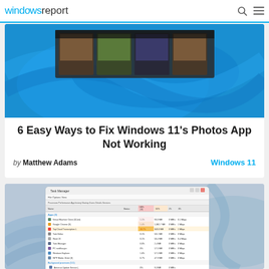windows report
[Figure (screenshot): Windows 11 Photos app thumbnails against blue Windows 11 wallpaper background]
6 Easy Ways to Fix Windows 11’s Photos App Not Working
by Matthew Adams   Windows 11
[Figure (screenshot): Windows Task Manager showing running processes with CPU, Memory, Disk, and Network usage columns, against Windows 11 blue swirl wallpaper background]